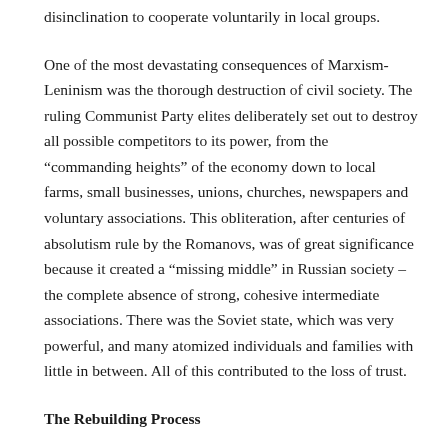disinclination to cooperate voluntarily in local groups.
One of the most devastating consequences of Marxism-Leninism was the thorough destruction of civil society. The ruling Communist Party elites deliberately set out to destroy all possible competitors to its power, from the “commanding heights” of the economy down to local farms, small businesses, unions, churches, newspapers and voluntary associations. This obliteration, after centuries of absolutism rule by the Romanovs, was of great significance because it created a “missing middle” in Russian society – the complete absence of strong, cohesive intermediate associations. There was the Soviet state, which was very powerful, and many atomized individuals and families with little in between. All of this contributed to the loss of trust.
The Rebuilding Process
Trust creates social capital. A healthy market economy is one in